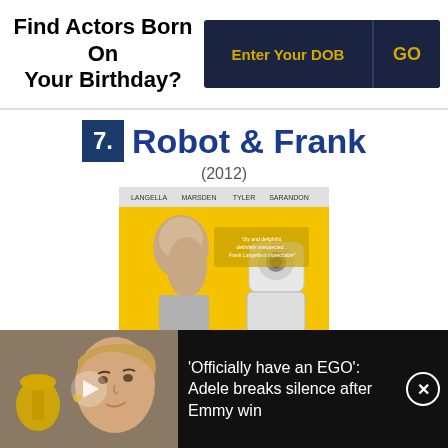Find Actors Born On Your Birthday?
7. Robot & Frank (2012)
[Figure (photo): Movie poster for Robot & Frank (2012) showing an elderly man facing a white humanoid robot on a yellow background, with actor names LANGELLA, MARSDEN, TYLER, SARANDON across the top]
ROBOT & FRANK
[Figure (photo): News thumbnail showing a woman holding an Emmy award trophy next to text about Adele breaking silence after Emmy win]
'Officially have an EGO': Adele breaks silence after Emmy win